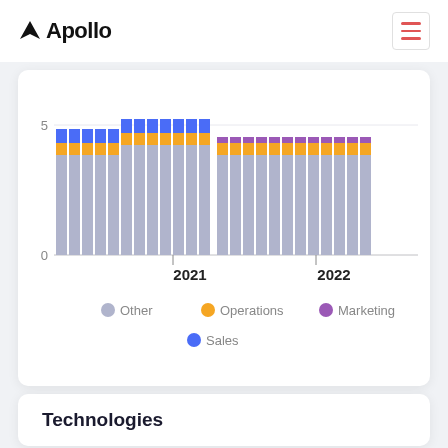Apollo
[Figure (stacked-bar-chart): Stacked bar chart showing data for 2021 and 2022]
Technologies